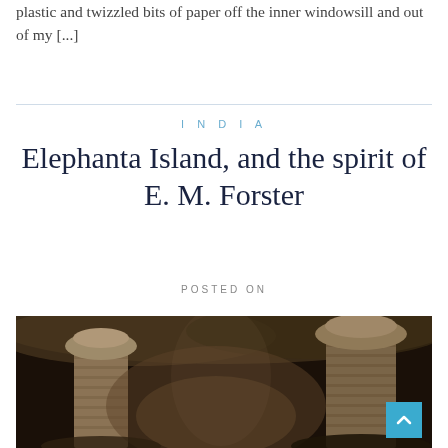plastic and twizzled bits of paper off the inner windowsill and out of my [...]
INDIA
Elephanta Island, and the spirit of E. M. Forster
POSTED ON
[Figure (photo): Ancient stone columns inside the Elephanta Caves, India. The columns have ribbed bases and large cushion capitals, photographed in dark atmospheric cave lighting with rock ceiling visible above.]